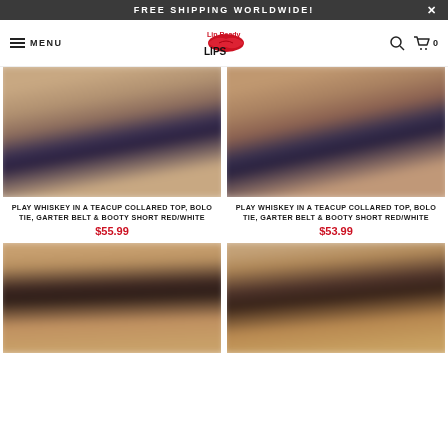FREE SHIPPING WORLDWIDE!
MENU | Lips Logo | search | cart 0
[Figure (photo): Blurred product photo showing model in dark bikini bottoms - Play Whiskey in a Teacup set]
PLAY WHISKEY IN A TEACUP COLLARED TOP, BOLO TIE, GARTER BELT & BOOTY SHORT RED/WHITE
$55.99
[Figure (photo): Blurred product photo showing model in dark bikini bottoms - Play Whiskey in a Teacup set]
PLAY WHISKEY IN A TEACUP COLLARED TOP, BOLO TIE, GARTER BELT & BOOTY SHORT RED/WHITE
$53.99
[Figure (photo): Blurred product photo showing model with long dark hair]
[Figure (photo): Blurred product photo showing model with dark hair and warm background]